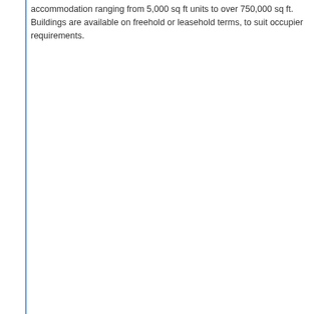accommodation ranging from 5,000 sq ft units to over 750,000 sq ft. Buildings are available on freehold or leasehold terms, to suit occupier requirements.